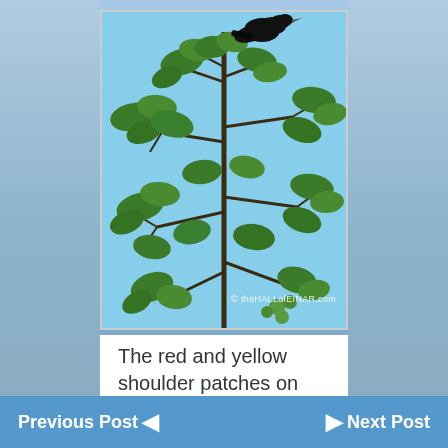[Figure (photo): A black bird perched at the top of a leafy green tree/shrub against a bright blue sky. The plant has many green leaves on visible branches. Watermark reads: © theHALLofEINAR.com]
The red and yellow shoulder patches on the male are very striking:
[Figure (photo): Partially visible second photo showing green foliage, cropped at the bottom of the page.]
Previous Post ◄     ► Next Post